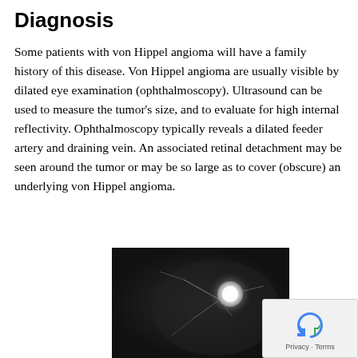Diagnosis
Some patients with von Hippel angioma will have a family history of this disease. Von Hippel angioma are usually visible by dilated eye examination (ophthalmoscopy). Ultrasound can be used to measure the tumor's size, and to evaluate for high internal reflectivity. Ophthalmoscopy typically reveals a dilated feeder artery and draining vein. An associated retinal detachment may be seen around the tumor or may be so large as to cover (obscure) an underlying von Hippel angioma.
[Figure (photo): Black and white ophthalmoscopy image showing a bright white lesion (von Hippel angioma) with visible blood vessels (feeder artery and draining vein) against a dark retinal background.]